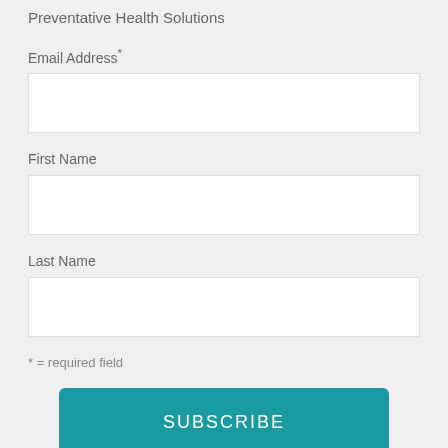Preventative Health Solutions
Email Address*
First Name
Last Name
* = required field
SUBSCRIBE